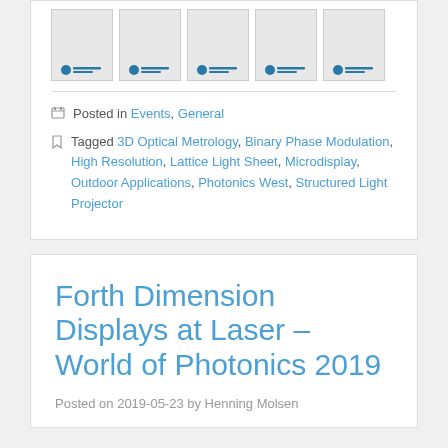[Figure (other): Row of five document thumbnail images with logos at the bottom]
Posted in Events, General
Tagged 3D Optical Metrology, Binary Phase Modulation, High Resolution, Lattice Light Sheet, Microdisplay, Outdoor Applications, Photonics West, Structured Light Projector
Forth Dimension Displays at Laser – World of Photonics 2019
Posted on 2019-05-23 by Henning Molsen